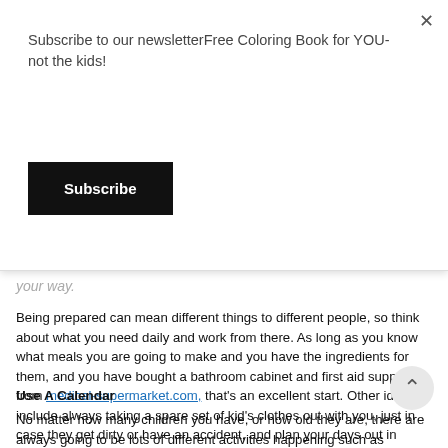Subscribe to our newsletterFree Coloring Book for YOU- not the kids!
Subscribe
your way.
Being prepared can mean different things to different people, so think about what you need daily and work from there. As long as you know what meals you are going to make and you have the ingredients for them, and you have bought a bathroom cabinet and first aid supplies from medical-supermarket.com, that's an excellent start. Other ideas include always taking a spare set of kid's clothes out with you, just in case they get dirty or have an accident, and plan your days out in advance rather than being spontaneous (although the kids don't need to know you have planned – you can surprise them with the day trip which is always a lot of fun).
Use A Calendar
No matter how many children you have, or how old they are, there are always going to be lots of different activities happening such as playdates, school trips, visits to and with family,